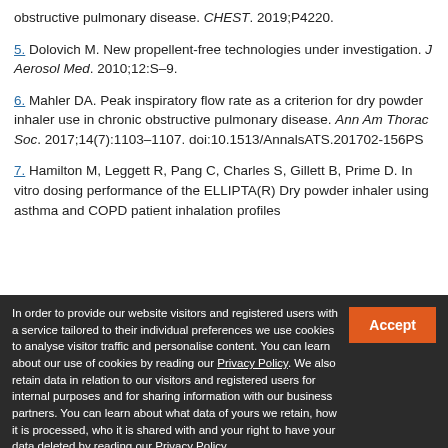obstructive pulmonary disease. CHEST. 2019;P4220.
5. Dolovich M. New propellent-free technologies under investigation. J Aerosol Med. 2010;12:S–9.
6. Mahler DA. Peak inspiratory flow rate as a criterion for dry powder inhaler use in chronic obstructive pulmonary disease. Ann Am Thorac Soc. 2017;14(7):1103–1107. doi:10.1513/AnnalsATS.201702-156PS
7. Hamilton M, Leggett R, Pang C, Charles S, Gillett B, Prime D. In vitro dosing performance of the ELLIPTA(R) Dry powder inhaler using asthma and COPD patient inhalation profiles
In order to provide our website visitors and registered users with a service tailored to their individual preferences we use cookies to analyse visitor traffic and personalise content. You can learn about our use of cookies by reading our Privacy Policy. We also retain data in relation to our visitors and registered users for internal purposes and for sharing information with our business partners. You can learn about what data of yours we retain, how it is processed, who it is shared with and your right to have your data deleted by reading our Privacy Policy. If you agree to our use of cookies and the contents of our Privacy Policy please click 'accept'.